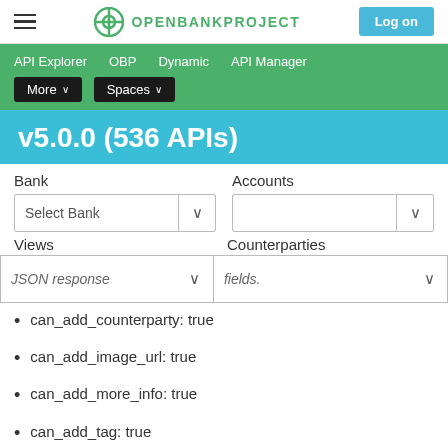OPENBANKPROJECT — Log on
API Explorer   OBP   Dynamic   API Manager   More ▾   Spaces ▾
v5.0.0 (536 APIs)
Bank   Accounts
Select Bank ∨   ∨
Views   Counterparties
JSON response ∨   fields. ∨
can_add_counterparty: true
can_add_image_url: true
can_add_more_info: true
can_add_tag: true